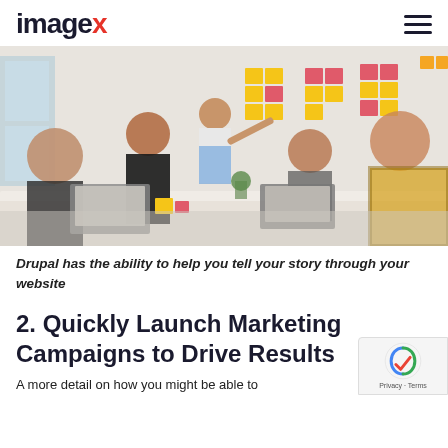imagex
[Figure (photo): Team meeting in a bright office with a woman presenting sticky notes on a whiteboard; several people seated at a table with laptops.]
Drupal has the ability to help you tell your story through your website
2. Quickly Launch Marketing Campaigns to Drive Results
A more detail on how you might be able to